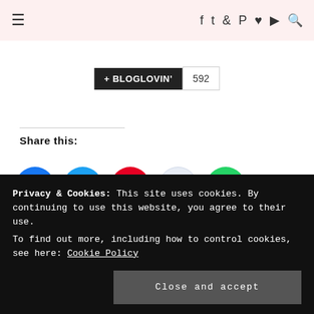≡  f  tw  ig  pt  ♥  yt  🔍
[Figure (other): Bloglovin follow button with count 592]
Share this:
[Figure (infographic): Social sharing circle buttons: Facebook (blue), Twitter (light blue), Pinterest (red), Reddit (light), WhatsApp (green)]
Privacy & Cookies: This site uses cookies. By continuing to use this website, you agree to their use.
To find out more, including how to control cookies, see here: Cookie Policy
Close and accept